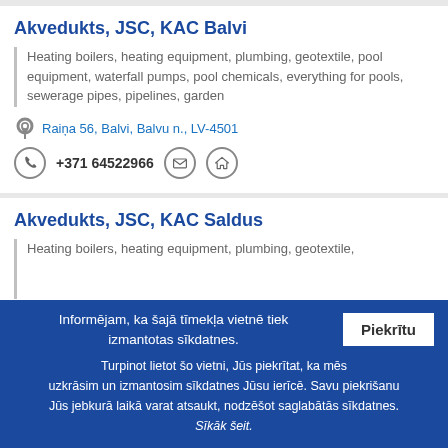Akvedukts, JSC, KAC Balvi
Heating boilers, heating equipment, plumbing, geotextile, pool equipment, waterfall pumps, pool chemicals, everything for pools, sewerage pipes, pipelines, garden
Raiņa 56, Balvi, Balvu n., LV-4501
+371 64522966
Akvedukts, JSC, KAC Saldus
Heating boilers, heating equipment, plumbing, geotextile,
Informējam, ka šajā tīmekļa vietnē tiek izmantotas sīkdatnes. Turpinot lietot šo vietni, Jūs piekrītat, ka mēs uzkrāsim un izmantosim sīkdatnes Jūsu ierīcē. Savu piekrišanu Jūs jebkurā laikā varat atsaukt, nodzēšot saglabātās sīkdatnes. Sīkāk šeit.